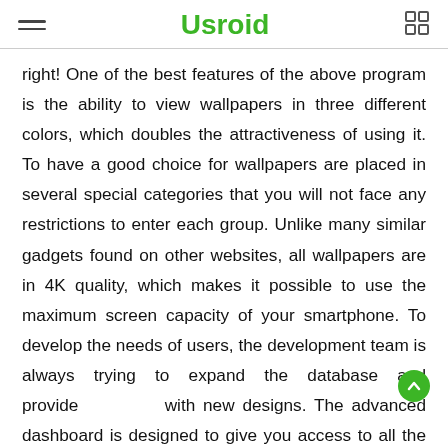Usroid
right! One of the best features of the above program is the ability to view wallpapers in three different colors, which doubles the attractiveness of using it. To have a good choice for wallpapers are placed in several special categories that you will not face any restrictions to enter each group. Unlike many similar gadgets found on other websites, all wallpapers are in 4K quality, which makes it possible to use the maximum screen capacity of your smartphone. To develop the needs of users, the development team is always trying to expand the database and provide you with new designs. The advanced dashboard is designed to give you access to all the tools and